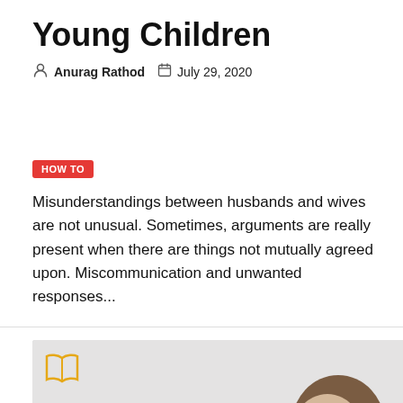Young Children
Anurag Rathod   July 29, 2020
HOW TO
Misunderstandings between husbands and wives are not unusual. Sometimes, arguments are really present when there are things not mutually agreed upon. Miscommunication and unwanted responses...
[Figure (photo): Woman taking a pill with a glass of water, with an open book icon in the top-left corner of the image]